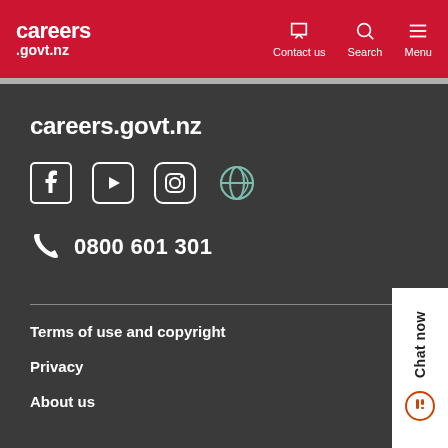careers.govt.nz — Contact us, Search, Menu
careers.govt.nz
[Figure (illustration): Social media icons: Facebook, YouTube, Instagram, and a globe/language icon]
0800 601 301
Terms of use and copyright
Privacy
About us
Chat now